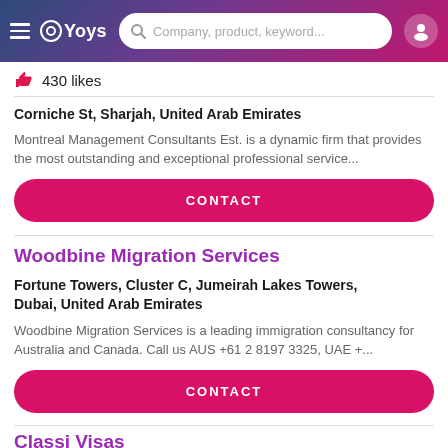OYoys — Company, product, keyword...
430 likes
Corniche St, Sharjah, United Arab Emirates
Montreal Management Consultants Est. is a dynamic firm that provides the most outstanding and exceptional professional service...
CONTACT
Woodbine Migration Services
Fortune Towers, Cluster C, Jumeirah Lakes Towers, Dubai, United Arab Emirates
Woodbine Migration Services is a leading immigration consultancy for Australia and Canada. Call us AUS +61 2 8197 3325, UAE +...
CONTACT
Classi Visas